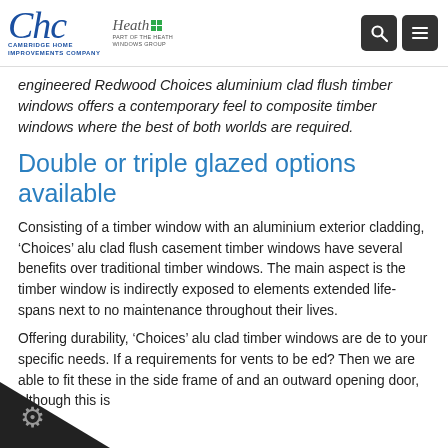Cambridge Home Improvements Company — Part of the Heath Windows Group
engineered Redwood Choices aluminium clad flush timber windows offers a contemporary feel to composite timber windows where the best of both worlds are required.
Double or triple glazed options available
Consisting of a timber window with an aluminium exterior cladding, 'Choices' alu clad flush casement timber windows have several benefits over traditional timber windows. The main aspect is the timber window is indirectly exposed to elements extended life-spans next to no maintenance throughout their lives.
Offering durability, 'Choices' alu clad timber windows are de to your specific needs. If a requirements for vents to be ed? Then we are able to fit these in the side frame of and an outward opening door, although this is